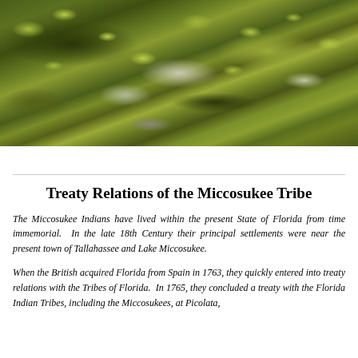[Figure (photo): Close-up photograph of a moss-covered rock surface with green moss and lichen patterns on gray stone]
Treaty Relations of the Miccosukee Tribe
The Miccosukee Indians have lived within the present State of Florida from time immemorial.  In the late 18th Century their principal settlements were near the present town of Tallahassee and Lake Miccosukee.
When the British acquired Florida from Spain in 1763, they quickly entered into treaty relations with the Tribes of Florida.  In 1765, they concluded a treaty with the Florida Indian Tribes, including the Miccosukees, at Picolata,